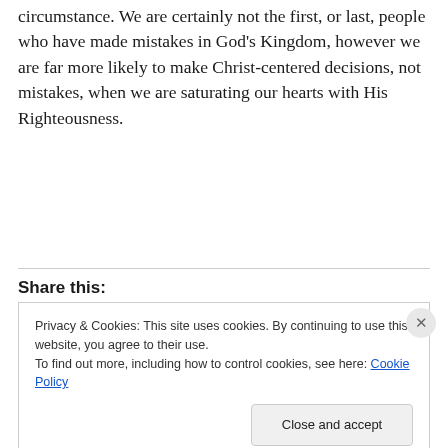circumstance. We are certainly not the first, or last, people who have made mistakes in God's Kingdom, however we are far more likely to make Christ-centered decisions, not mistakes, when we are saturating our hearts with His Righteousness.
Share this:
Privacy & Cookies: This site uses cookies. By continuing to use this website, you agree to their use.
To find out more, including how to control cookies, see here: Cookie Policy
Close and accept